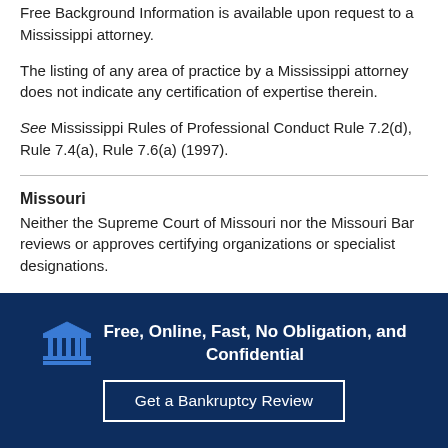Free Background Information is available upon request to a Mississippi attorney.
The listing of any area of practice by a Mississippi attorney does not indicate any certification of expertise therein.
See Mississippi Rules of Professional Conduct Rule 7.2(d), Rule 7.4(a), Rule 7.6(a) (1997).
Missouri
Neither the Supreme Court of Missouri nor the Missouri Bar reviews or approves certifying organizations or specialist designations.
Missouri Rules of Professional Conduct Rule 7.4 (1997).
Free, Online, Fast, No Obligation, and Confidential
Get a Bankruptcy Review